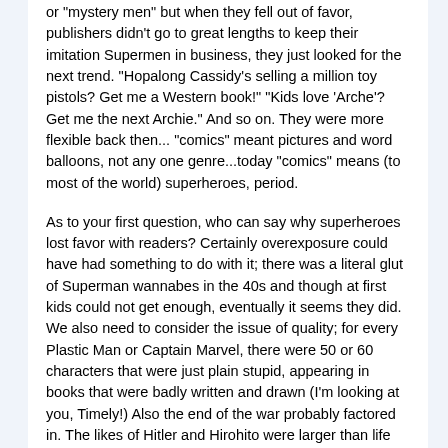or 'mystery men' but when they fell out of favor, publishers didn't go to great lengths to keep their imitation Supermen in business, they just looked for the next trend.  "Hopalong Cassidy's selling a million toy pistols? Get me a Western book!"  "Kids love 'Arche'? Get me the next Archie."  And so on. They were more flexible back then... "comics" meant pictures and word balloons, not any one genre...today "comics" means (to most of the world) superheroes, period.
As to your first question, who can say why superheroes lost favor with readers?  Certainly overexposure could have had something to do with it; there was a literal glut of Superman wannabes in the 40s and though at first kids could not get enough, eventually it seems they did.  We also need to consider the issue of quality; for every Plastic Man or Captain Marvel, there were 50 or 60 characters that were just plain stupid, appearing in books that were badly written and drawn (I'm looking at you, Timely!)  Also the end of the war probably factored in.  The likes of Hitler and Hirohito were larger than life and imposing to most folks; Americans welcomed heroes who were just as much larger than life.  But with the Axis licked, what did we have left?  Con men, bank robbers and racketeers? Sorry, but Captain America